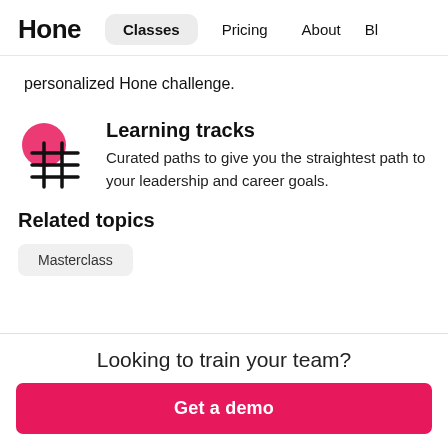Hone  Classes  Pricing  About  Bl
personalized Hone challenge.
[Figure (illustration): Pink circle with a hashtag/grid icon overlay representing learning tracks]
Learning tracks
Curated paths to give you the straightest path to your leadership and career goals.
Related topics
Masterclass
Looking to train your team?
Get a demo